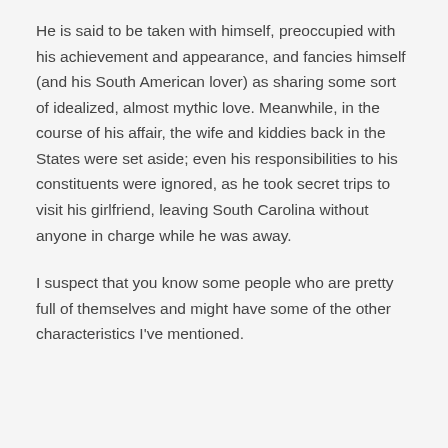He is said to be taken with himself, preoccupied with his achievement and appearance, and fancies himself (and his South American lover) as sharing some sort of idealized, almost mythic love. Meanwhile, in the course of his affair, the wife and kiddies back in the States were set aside; even his responsibilities to his constituents were ignored, as he took secret trips to visit his girlfriend, leaving South Carolina without anyone in charge while he was away.
I suspect that you know some people who are pretty full of themselves and might have some of the other characteristics I've mentioned.